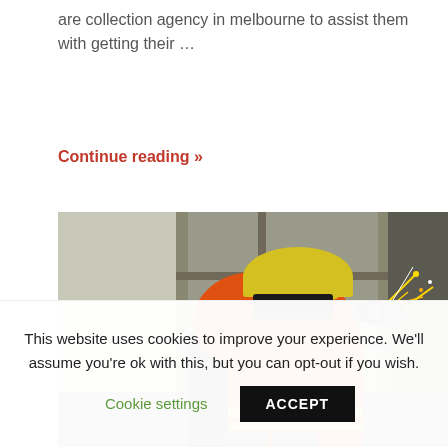are collection agency in melbourne to assist them with getting their …
Continue reading »
[Figure (photo): A construction worker wearing an orange high-visibility vest and yellow hard hat, working with a grinder or cutting tool with sparks flying, inside a steel-framed building structure.]
This website uses cookies to improve your experience. We'll assume you're ok with this, but you can opt-out if you wish.
Cookie settings
ACCEPT